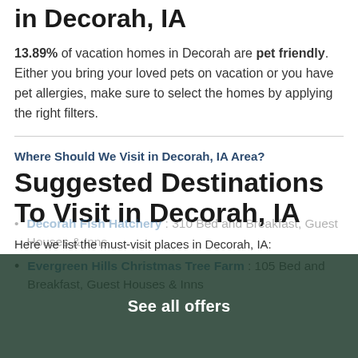in Decorah, IA
13.89% of vacation homes in Decorah are pet friendly. Either you bring your loved pets on vacation or you have pet allergies, make sure to select the homes by applying the right filters.
Where Should We Visit in Decorah, IA Area?
Suggested Destinations To Visit in Decorah, IA
Here we list the must-visit places in Decorah, IA:
Evergreen Hills Christmas Tree Farm : 105 Bed and Breakfast, Guest Houses & Inns
Decorah Fish Hatchery : 310 Bed and Breakfast, Guest Houses & Inns
See all offers